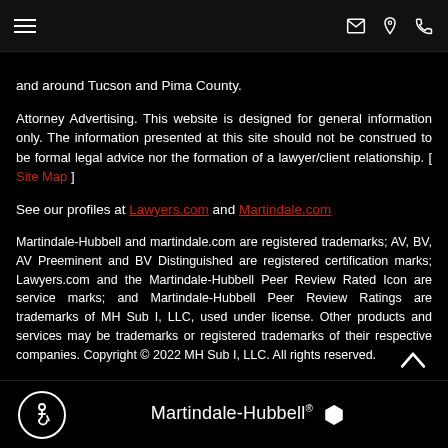Navigation bar with hamburger menu and icons for email, location, phone
and around Tucson and Pima County.
Attorney Advertising. This website is designed for general information only. The information presented at this site should not be construed to be formal legal advice nor the formation of a lawyer/client relationship. [ Site Map ]
See our profiles at Lawyers.com and Martindale.com
Martindale-Hubbell and martindale.com are registered trademarks; AV, BV, AV Preeminent and BV Distinguished are registered certification marks; Lawyers.com and the Martindale-Hubbell Peer Review Rated Icon are service marks; and Martindale-Hubbell Peer Review Ratings are trademarks of MH Sub I, LLC, used under license. Other products and services may be trademarks or registered trademarks of their respective companies. Copyright © 2022 MH Sub I, LLC. All rights reserved.
Martindale-Hubbell® [hexagon logo] [accessibility icon]